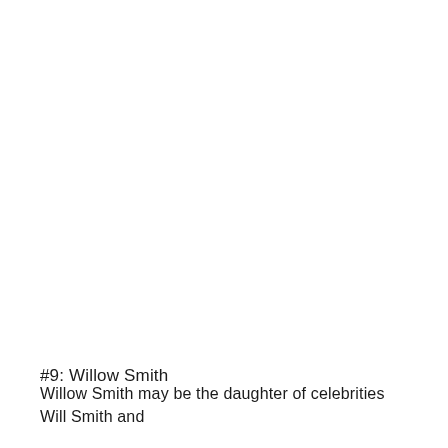#9: Willow Smith
Willow Smith may be the daughter of celebrities Will Smith and